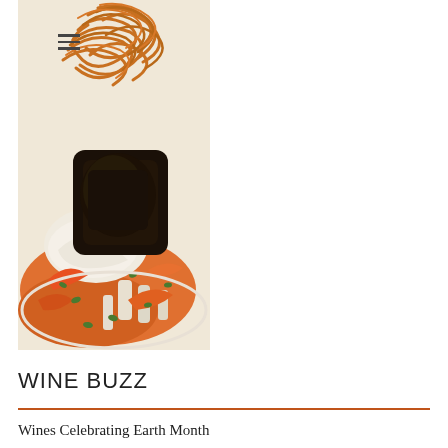[Figure (photo): Close-up food photograph of a gourmet dish featuring a seared fish or meat with a dark crust, topped with crispy fried onion strings, white cream sauce, orange/carrot slices, mushrooms, and micro greens on a white plate.]
WINE BUZZ
Wines Celebrating Earth Month